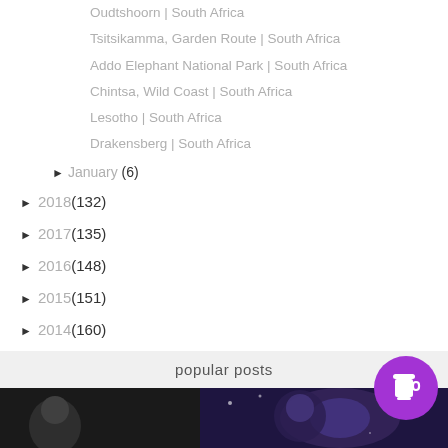Oudtshoorn | South Africa
Tsitsikamma, Garden Route | South Africa
Addo Elephant National Park | South Africa
Chintsa, Wild Coast | South Africa
Lesotho | South Africa
Drakensberg | South Africa
► January (6)
► 2018 (132)
► 2017 (135)
► 2016 (148)
► 2015 (151)
► 2014 (160)
► 2013 (14)
► 2012 (8)
► 2011 (6)
popular posts
[Figure (photo): Two thumbnail images for popular posts section - a dark portrait on the left and a galaxy/space themed image on the right]